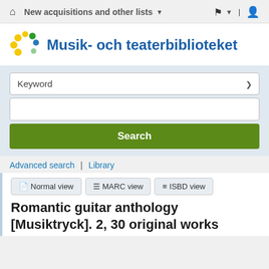New acquisitions and other lists
Musik- och teaterbiblioteket
Keyword
Search
Advanced search | Library
Normal view  MARC view  ISBD view
Romantic guitar anthology [Musiktryck]. 2, 30 original works